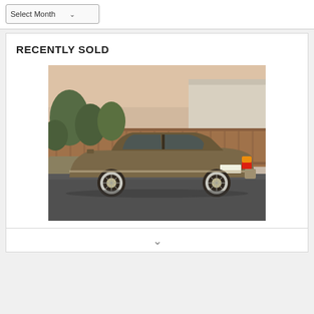Select Month
RECENTLY SOLD
[Figure (photo): A brown/tan BMW 7-series sedan (E23 generation) photographed from the rear three-quarter angle in a parking lot. The car has BBS-style alloy wheels, amber/red taillights illuminated, and is parked on asphalt with a wooden fence, trees, and a beige building in the background.]